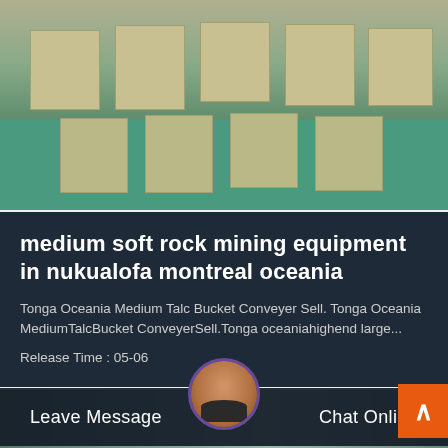[Figure (photo): Industrial mining/crushing machines (yellow/beige) arranged on a green factory floor, photographed from an angle.]
medium soft rock mining equipment in nukualofa montreal oceania
Tonga Oceania Medium Talc Bucket Conveyer Sell. Tonga Oceania MediumTalcBucket ConveyerSell.Tonga oceaniahighend large...
Release Time : 05-06
[Figure (photo): Industrial facility interior with large equipment and structural steel, partially visible at the bottom of the page.]
Leave Message
Chat Online